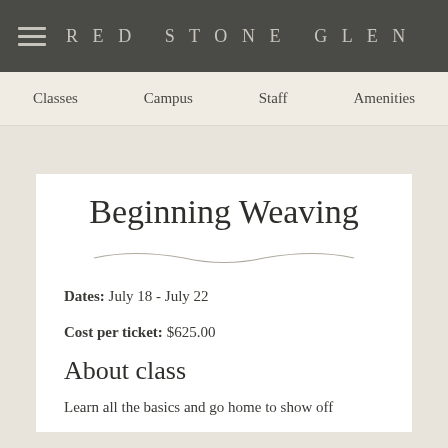RED STONE GLEN
Classes  Campus  Staff  Amenities
Beginning Weaving
Dates: July 18 - July 22
Cost per ticket: $625.00
About class
Learn all the basics and go home to show off